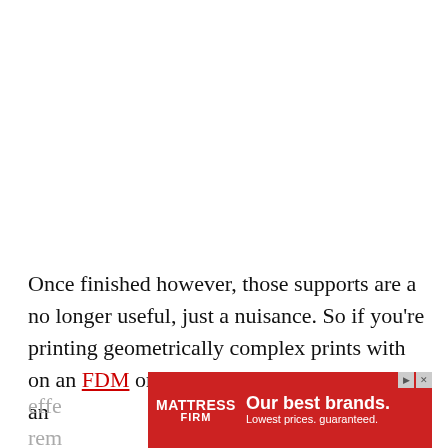Once finished however, those supports are a no longer useful, just a nuisance. So if you're printing geometrically complex prints with on an FDM or resin 3D printer, you'll need an
effe
[Figure (other): Mattress Firm advertisement banner: red background with white text 'Our best brands. Lowest prices. guaranteed.' and Mattress Firm logo.]
rem                                                                              ge